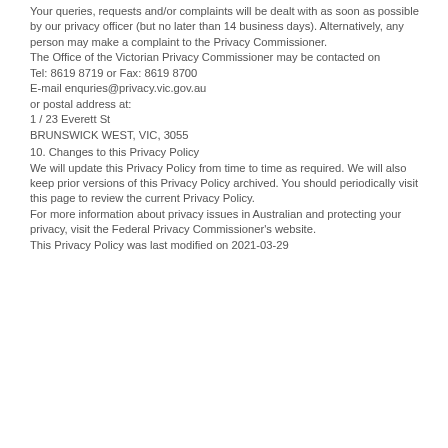Your queries, requests and/or complaints will be dealt with as soon as possible by our privacy officer (but no later than 14 business days). Alternatively, any person may make a complaint to the Privacy Commissioner. The Office of the Victorian Privacy Commissioner may be contacted on Tel: 8619 8719 or Fax: 8619 8700 E-mail enquries@privacy.vic.gov.au or postal address at: 1 / 23 Everett St BRUNSWICK WEST, VIC, 3055
10. Changes to this Privacy Policy
We will update this Privacy Policy from time to time as required. We will also keep prior versions of this Privacy Policy archived. You should periodically visit this page to review the current Privacy Policy.
For more information about privacy issues in Australian and protecting your privacy, visit the Federal Privacy Commissioner's website.
This Privacy Policy was last modified on 2021-03-29